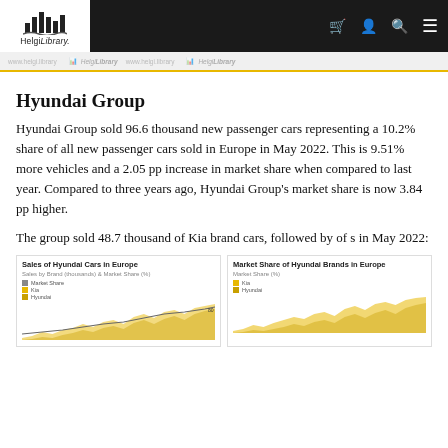Helgi Library
www.helgi.library (watermark bar)
Hyundai Group
Hyundai Group sold 96.6 thousand new passenger cars representing a 10.2% share of all new passenger cars sold in Europe in May 2022. This is 9.51% more vehicles and a 2.05 pp increase in market share when compared to last year. Compared to three years ago, Hyundai Group's market share is now 3.84 pp higher.
The group sold 48.7 thousand of Kia brand cars, followed by of s in May 2022:
[Figure (area-chart): Sales by Brand (thousands) & Market Share (%) - area/line chart showing Hyundai and Kia sales over time with market share overlay]
[Figure (area-chart): Market Share (%) - area chart showing Kia and Hyundai market share over time]